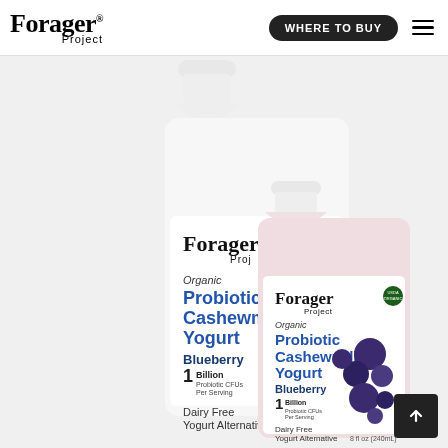Forager Project — WHERE TO BUY navigation bar
[Figure (photo): Two Forager Project Organic Probiotic Cashewmilk Yogurt Blueberry bottles — a large bottle on the left and a smaller single-serve bottle on the right, both with blueberry imagery. Labels read: Organic Probiotic Cashewmilk Yogurt Blueberry, 1 Billion Probiotic CFUs Per Serving, Dairy Free Yogurt Alternative.]